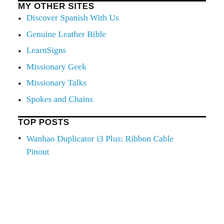MY OTHER SITES
Discover Spanish With Us
Genuine Leather Bible
LearnSigns
Missionary Geek
Missionary Talks
Spokes and Chains
TOP POSTS
Wanhao Duplicator i3 Plus: Ribbon Cable Pinout